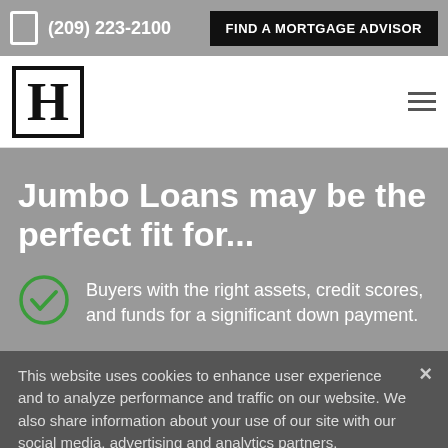(209) 223-2100   FIND A MORTGAGE ADVISOR
[Figure (logo): H logo in black bordered box]
Jumbo Loans may be the perfect fit for...
Buyers with the right assets, credit scores, and funds for a significant down payment.
This website uses cookies to enhance user experience and to analyze performance and traffic on our website. We also share information about your use of our site with our social media, advertising and analytics partners.